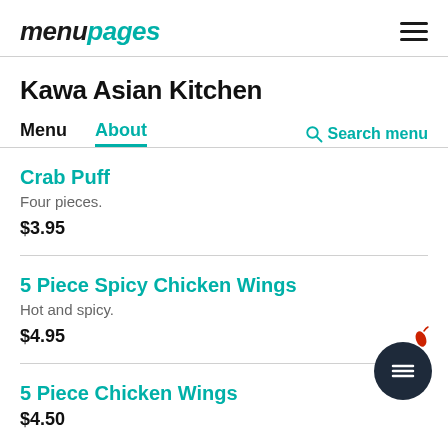menupages
Kawa Asian Kitchen
Menu  About  Search menu
Crab Puff
Four pieces.
$3.95
5 Piece Spicy Chicken Wings
Hot and spicy.
$4.95
5 Piece Chicken Wings
$4.50